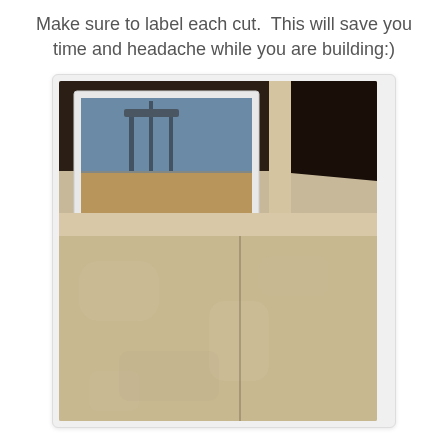Make sure to label each cut.  This will save you time and headache while you are building:)
[Figure (photo): Photo of MDF or particleboard panels laid flat, showing a large sheet of beige/tan material. In the upper portion a mirror or framed window reflects a room interior with chairs and wooden furniture. A vertical pencil line or cut mark is visible on the board surface.]